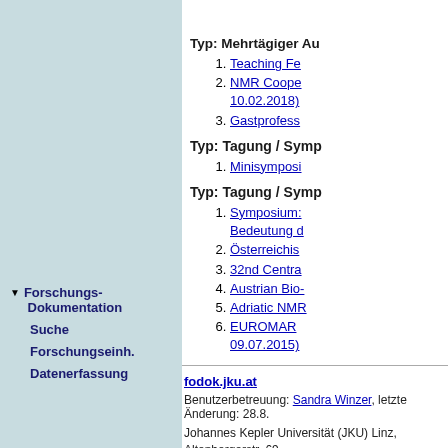Typ: Mehrtägiger Au...
1. Teaching Fe...
2. NMR Coope... 10.02.2018)
3. Gastprofess...
Typ: Tagung / Symp...
1. Minisymposi...
Typ: Tagung / Symp...
1. Symposium:... Bedeutung d...
2. Österreichis...
3. 32nd Centra...
4. Austrian Bio-...
5. Adriatic NMR...
6. EUROMAR... 09.07.2015)
Typ: Veranstaltungs... Colloquium
1. DK Nanocell...
Forschungs-Dokumentation
Suche
Forschungseinh.
Datenerfassung
fodok.jku.at
Benutzerbetreuung: Sandra Winzer, letzte Änderung: 28.8....
Johannes Kepler Universität (JKU) Linz, Altenbergerstr. 69, Telefon + 43 732 / 2468 - 9121, Fax + 43 732 / 2468 - 2912...